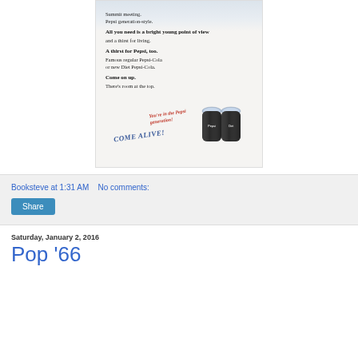[Figure (illustration): Vintage Pepsi advertisement showing text about 'Summit meeting. Pepsi generation-style.' with two Pepsi bottles at the bottom and text 'COME ALIVE! You're in the Pepsi generation!']
Booksteve at 1:31 AM   No comments:
Share
Saturday, January 2, 2016
Pop '66